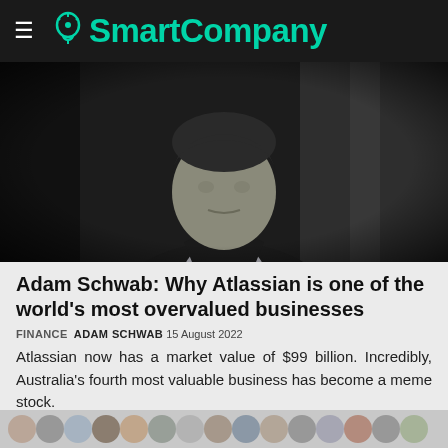SmartCompany
[Figure (photo): Black and white portrait photo of a man in a dark suit jacket, looking slightly to the side against a dark background]
Adam Schwab: Why Atlassian is one of the world's most overvalued businesses
FINANCE  ADAM SCHWAB  15 AUGUST 2022
Atlassian now has a market value of $99 billion. Incredibly, Australia's fourth most valuable business has become a meme stock.
[Figure (photo): Row of small avatar/profile images partially visible at bottom of page]